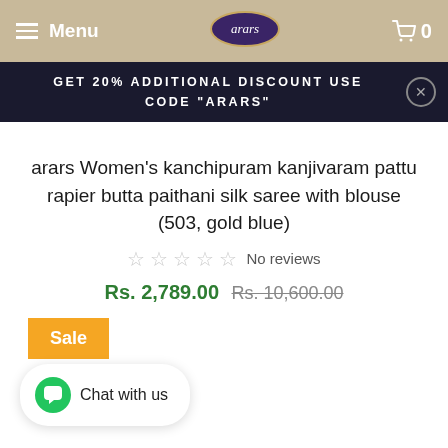Menu | arars | 0
GET 20% ADDITIONAL DISCOUNT USE CODE "ARARS"
arars Women's kanchipuram kanjivaram pattu rapier butta paithani silk saree with blouse (503, gold blue)
☆☆☆☆☆ No reviews
Rs. 2,789.00 Rs. 10,600.00
Sale
Chat with us